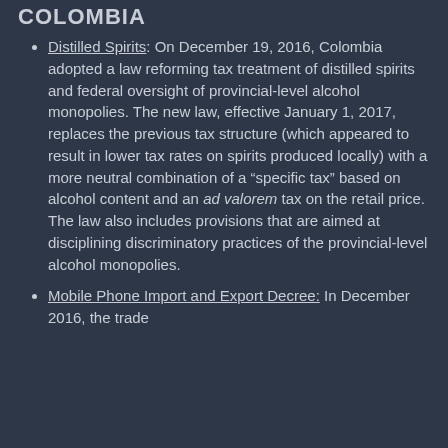COLOMBIA
Distilled Spirits: On December 19, 2016, Colombia adopted a law reforming tax treatment of distilled spirits and federal oversight of provincial-level alcohol monopolies. The new law, effective January 1, 2017, replaces the previous tax structure (which appeared to result in lower tax rates on spirits produced locally) with a more neutral combination of a “specific tax” based on alcohol content and an ad valorem tax on the retail price. The law also includes provisions that are aimed at disciplining discriminatory practices of the provincial-level alcohol monopolies.
Mobile Phone Import and Export Decree: In December 2016, the trade